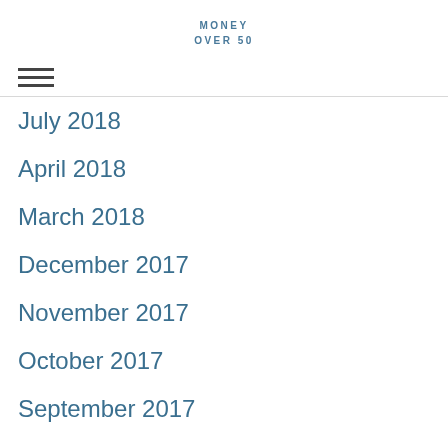MONEY OVER 50
July 2018
April 2018
March 2018
December 2017
November 2017
October 2017
September 2017
August 2017
July 2017